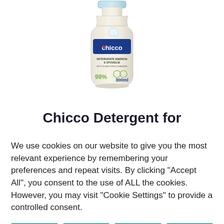[Figure (photo): Chicco baby bottle and dish cleanser product bottle (300ml) with 98% natural ingredients claim, showing a baby bottle on the label.]
Chicco Detergent for
We use cookies on our website to give you the most relevant experience by remembering your preferences and repeat visits. By clicking “Accept All”, you consent to the use of ALL the cookies. However, you may visit “Cookie Settings” to provide a controlled consent.
Cookie Settings
Accept All
Reject All
Read More